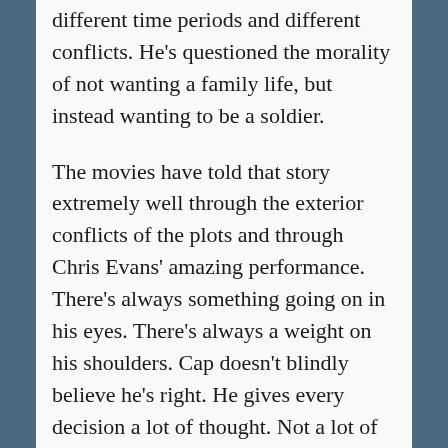He's struggled to maintain his values in different time periods and different conflicts. He's questioned the morality of not wanting a family life, but instead wanting to be a soldier.
The movies have told that story extremely well through the exterior conflicts of the plots and through Chris Evans' amazing performance. There's always something going on in his eyes. There's always a weight on his shoulders. Cap doesn't blindly believe he's right. He gives every decision a lot of thought. Not a lot of BROODING. A lot of thought. He's not perfect. He just truly wants to be his best and is always striving for it. He's a great role model.
Also, his shield is awesome and I cheer